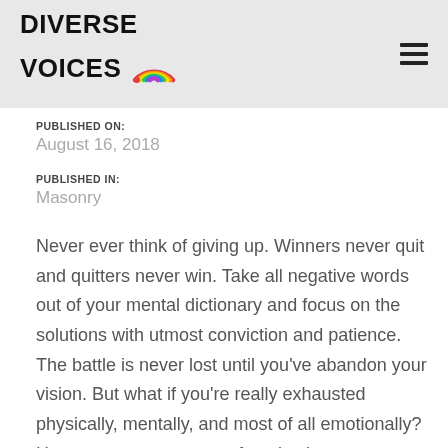[Figure (logo): Diverse Voices logo with rainbow arc graphic and hamburger menu icon]
PUBLISHED ON:
August 16, 2018
PUBLISHED IN:
Masonry
Never ever think of giving up. Winners never quit and quitters never win. Take all negative words out of your mental dictionary and focus on the solutions with utmost conviction and patience. The battle is never lost until you've abandon your vision. But what if you're really exhausted physically, mentally, and most of all emotionally? Here are some sources of motivation to prompt you in reaching the peak of accomplishment.